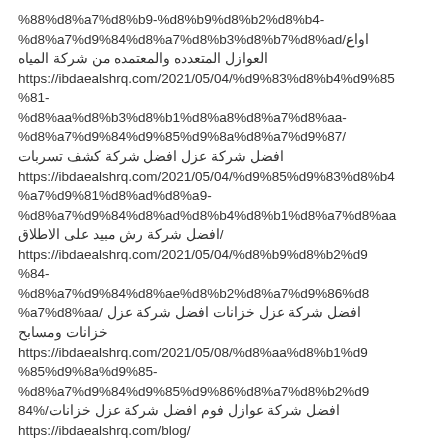%88%d8%a7%d8%b9-%d8%b9%d8%b2%d9%84-%d8%a7%d9%84%d8%a7%d8%b3%d8%b7%d8%ad/اواع العوازل المتعدده والمعتمده من شركة المياه https://ibdaealshrq.com/2021/05/04/%d9%83%d8%b4%d9%81-%d8%aa%d8%b3%d8%b1%d8%a8%d8%a7%d8%aa-%d8%a7%d9%84%d9%85%d9%8a%d8%a7%d9%87/ افضل شركة عزل افضل شركة كشف تسربات https://ibdaealshrq.com/2021/05/04/%d9%85%d9%83%d8%a7%d9%81%d8%ad%d8%a9-%d8%a7%d9%84%d8%ad%d8%b4%d8%b1%d8%a7%d8%aa افضل شركة رش مبيد على الاطلاق/ https://ibdaealshrq.com/2021/05/04/%d8%b9%d8%b2%d9%84-%d8%a7%d9%84%d8%ae%d8%b2%d8%a7%d9%86%d8%a7%d8%aa/ افضل شركة عزل خزانات افضل شركة عزل خزانات ومسابح https://ibdaealshrq.com/2021/05/08/%d8%aa%d8%b1%d9%85%d9%8a%d9%85-%d8%a7%d9%84%d9%85%d9%86%d8%a7%d8%b2%d9%84/%d8%b9%d8%b2%d9%84-%d8%ae%d8%b2%d8%a7%d9%86%d8%a7%d8%aa/ افضل شركة عوازل فوم افضل شركة عزل خزانات/%84 https://ibdaealshrq.com/blog/